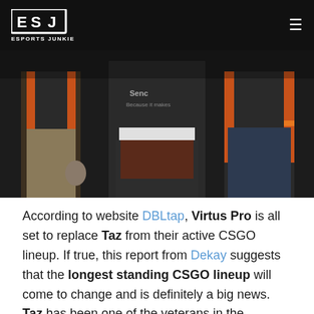ESPORTS JUNKIE
[Figure (photo): Three esports players in dark jerseys with orange accents standing side by side, photographed from roughly waist down, dark background]
According to website DBLtap, Virtus Pro is all set to replace Taz from their active CSGO lineup. If true, this report from Dekay suggests that the longest standing CSGO lineup will come to change and is definitely a big news. Taz has been one of the veterans in the industry, constantly encouraging fans to be less toxic and more friendly towards the skills of VP opponents. One year ago, Virtus Pro was in the finals of